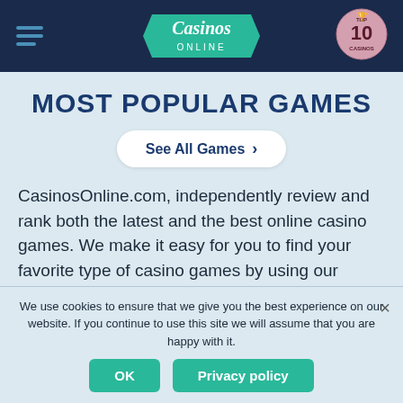Casinos Online — TOP 10 CASINOS
MOST POPULAR GAMES
See All Games >
CasinosOnline.com, independently review and rank both the latest and the best online casino games. We make it easy for you to find your favorite type of casino games by using our extensive filtering and sorting tool. Below is a sample size of some of the
We use cookies to ensure that we give you the best experience on our website. If you continue to use this site we will assume that you are happy with it.
OK   Privacy policy